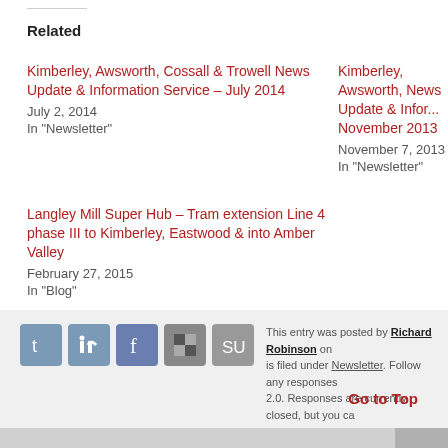Related
Kimberley, Awsworth, Cossall & Trowell News Update & Information Service – July 2014
July 2, 2014
In "Newsletter"
Kimberley, Awsworth, News Update & Infor... November 2013
November 7, 2013
In "Newsletter"
Langley Mill Super Hub – Tram extension Line 4 phase III to Kimberley, Eastwood & into Amber Valley
February 27, 2015
In "Blog"
This entry was posted by Richard Robinson on... is filed under Newsletter. Follow any responses... 2.0. Responses are currently closed, but you ca...
Go to Top